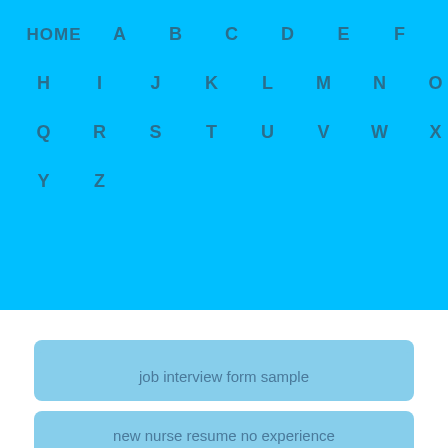HOME A B C D E F G H I J K L M N O P Q R S T U V W X Y Z
free quote forms
job interview form sample
new nurse resume no experience
accounting skills for resume
duties and responsibilities of a sales staff
sample letter for pay increase
what is a title page